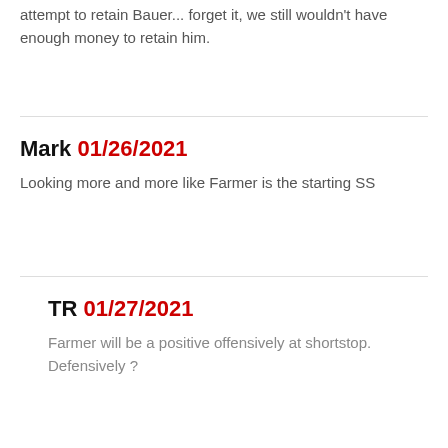attempt to retain Bauer... forget it, we still wouldn't have enough money to retain him.
Mark 01/26/2021
Looking more and more like Farmer is the starting SS
TR 01/27/2021
Farmer will be a positive offensively at shortstop. Defensively ?